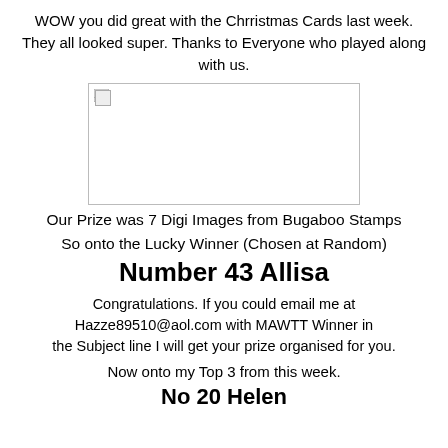WOW you did great with the Chrristmas Cards last week. They all looked super. Thanks to Everyone who played along with us.
[Figure (photo): A broken/missing image placeholder with border]
Our Prize was 7 Digi Images from Bugaboo Stamps
So onto the Lucky Winner (Chosen at Random)
Number 43 Allisa
Congratulations. If you could email me at Hazze89510@aol.com with MAWTT Winner in the Subject line I will get your prize organised for you.
Now onto my Top 3 from this week.
No 20 Helen